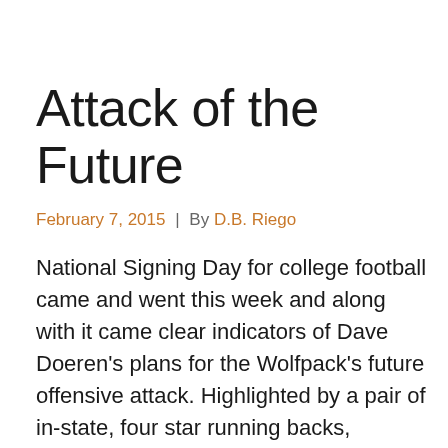Attack of the Future
February 7, 2015 | By D.B. Riego
National Signing Day for college football came and went this week and along with it came clear indicators of Dave Doeren's plans for the Wolfpack's future offensive attack. Highlighted by a pair of in-state, four star running backs, Doeren planted his flag firmly in staking his claim on in-state recruiting and a run-heavy offensive attack. Garner High School's Nyheim Hines and Princeton High School's Johnny Fonsie highlight an incoming class that also